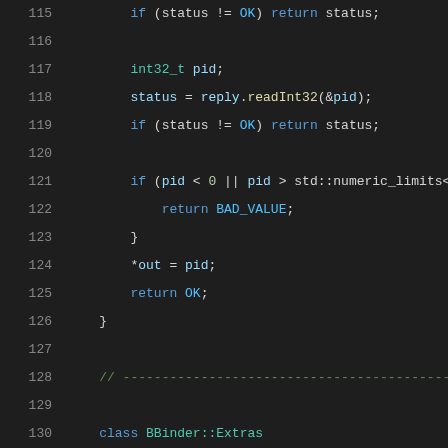[Figure (screenshot): Source code screenshot showing C++ code lines 115-136 with syntax highlighting on dark background. Lines show status check, int32_t pid declaration, reply.readInt32 call, bounds check with std::numeric_limits, return BAD_VALUE, *out = pid, return OK, closing brace, comment separator line, class BBinder::Extras definition with public section including bool mRequestingSid and sp<IBinder> mExtension members.]